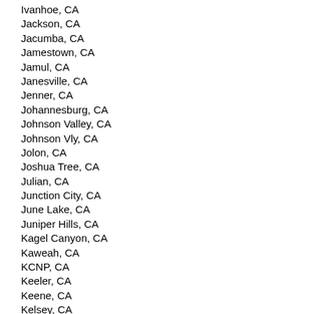Ivanhoe, CA
Jackson, CA
Jacumba, CA
Jamestown, CA
Jamul, CA
Janesville, CA
Jenner, CA
Johannesburg, CA
Johnson Valley, CA
Johnson Vly, CA
Jolon, CA
Joshua Tree, CA
Julian, CA
Junction City, CA
June Lake, CA
Juniper Hills, CA
Kagel Canyon, CA
Kaweah, CA
KCNP, CA
Keeler, CA
Keene, CA
Kelsey, CA
Kelseyville, CA
Kelso, CA
Kensington, CA
Kentfield, CA
Kenwood, CA
Kerman, CA
Kernville, CA
Kettleman City, CA